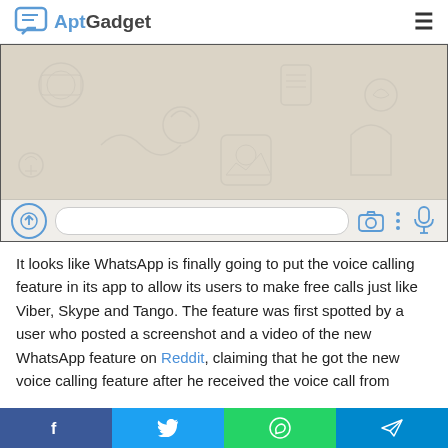AptGadget
[Figure (screenshot): WhatsApp chat interface screenshot showing the chat background with decorative pattern and the input bar with upload button, text field, camera icon, more options icon, and microphone icon.]
It looks like WhatsApp is finally going to put the voice calling feature in its app to allow its users to make free calls just like Viber, Skype and Tango. The feature was first spotted by a user who posted a screenshot and a video of the new WhatsApp feature on Reddit, claiming that he got the new voice calling feature after he received the voice call from
Facebook Twitter WhatsApp Telegram